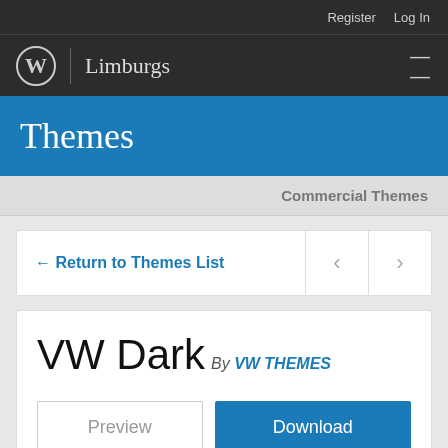Register   Log In
Limburgs
Themes
Commercial Themes
← Return to Themes List
VW Dark By VW THEMES
Preview
Download
Version: 0.2.6